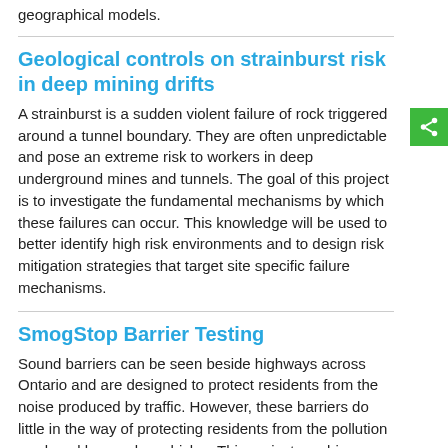geographical models.
Geological controls on strainburst risk in deep mining drifts
A strainburst is a sudden violent failure of rock triggered around a tunnel boundary. They are often unpredictable and pose an extreme risk to workers in deep underground mines and tunnels. The goal of this project is to investigate the fundamental mechanisms by which these failures can occur. This knowledge will be used to better identify high risk environments and to design risk mitigation strategies that target site specific failure mechanisms.
SmogStop Barrier Testing
Sound barriers can be seen beside highways across Ontario and are designed to protect residents from the noise produced by traffic. However, these barriers do little in the way of protecting residents from the pollution produced by nearby vehicles. This project combines a